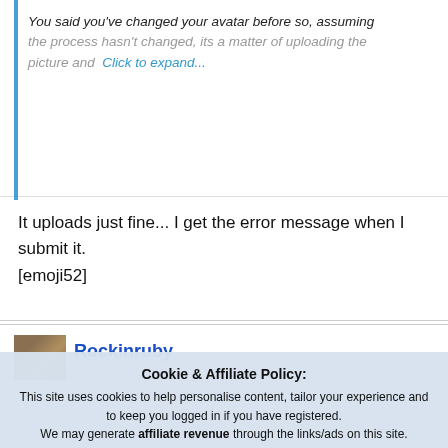You said you've changed your avatar before so, assuming the process hasn't changed, its a matter of uploading the picture and... Click to expand...
It uploads just fine... I get the error message when I submit it. [emoji52]
Rockinruby
Cookie & Affiliate Policy: This site uses cookies to help personalise content, tailor your experience and to keep you logged in if you have registered. We may generate affiliate revenue through the links/ads on this site. We NEVER accept paid reviews and take great pride in providing honest opinions and objective information on products & services. By continuing to use this site, you are consenting to our use of cookie policy.